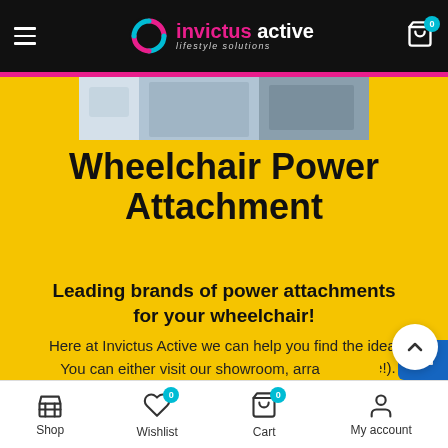invictus active lifestyle solutions — navigation header with cart (0)
[Figure (screenshot): Partial banner image strip showing wheelchair-related product imagery on yellow background]
Wheelchair Power Attachment
Leading brands of power attachments for your wheelchair!
Here at Invictus Active we can help you find the ideal wheelchair power attachment (for the lowest price!). You can either visit our showroom, arra
Shop  Wishlist (0)  Cart (0)  My account